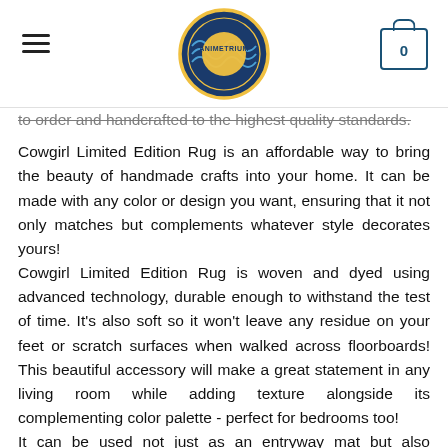AnimeTrium logo, hamburger menu, cart icon with 0
to order and handcrafted to the highest quality standards.
Cowgirl Limited Edition Rug is an affordable way to bring the beauty of handmade crafts into your home. It can be made with any color or design you want, ensuring that it not only matches but complements whatever style decorates yours!
Cowgirl Limited Edition Rug is woven and dyed using advanced technology, durable enough to withstand the test of time. It's also soft so it won't leave any residue on your feet or scratch surfaces when walked across floorboards! This beautiful accessory will make a great statement in any living room while adding texture alongside its complementing color palette - perfect for bedrooms too!
It can be used not just as an entryway mat but also bathroom mat if desired due provided excellent water absorption properties that enable easy cleanup after use